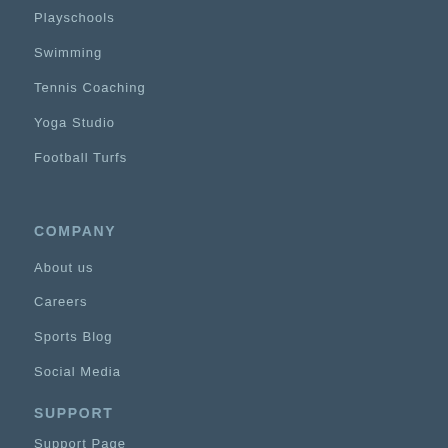Playschools
Swimming
Tennis Coaching
Yoga Studio
Football Turfs
COMPANY
About us
Careers
Sports Blog
Social Media
SUPPORT
Support Page